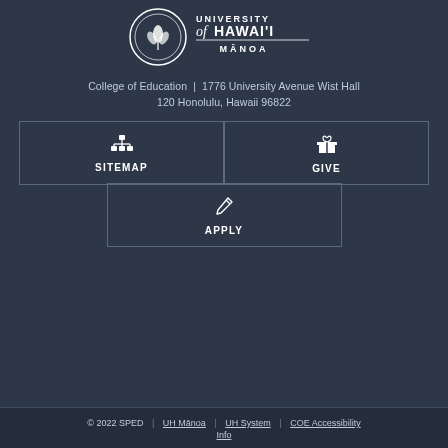[Figure (logo): University of Hawai'i at Mānoa seal and wordmark logo in white on dark background]
College of Education | 1776 University Avenue Wist Hall 120 Honolulu, Hawaii 96822
SITEMAP
GIVE
APPLY
© 2022 SPED | UH Mānoa | UH System | COE Accessibility Info